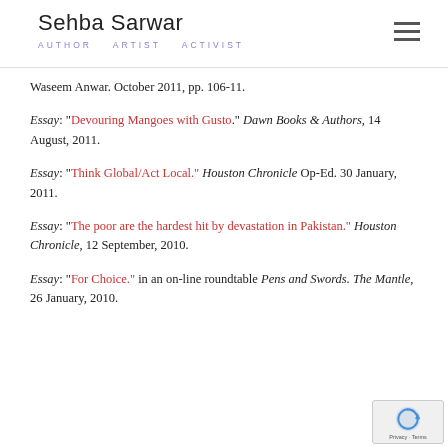Sehba Sarwar AUTHOR ARTIST ACTIVIST
Waseem Anwar. October 2011, pp. 106-11.
Essay: "Devouring Mangoes with Gusto." Dawn Books & Authors, 14 August, 2011.
Essay: "Think Global/Act Local." Houston Chronicle Op-Ed. 30 January, 2011.
Essay: "The poor are the hardest hit by devastation in Pakistan." Houston Chronicle, 12 September, 2010.
Essay: "For Choice." in an on-line roundtable Pens and Swords. The Mantle, 26 January, 2010.